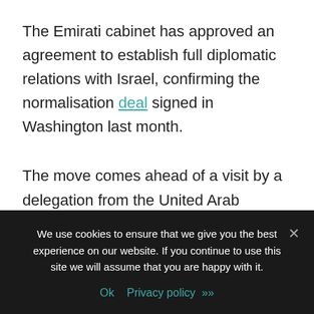The Emirati cabinet has approved an agreement to establish full diplomatic relations with Israel, confirming the normalisation deal signed in Washington last month.
The move comes ahead of a visit by a delegation from the United Arab Emirates to Israel, scheduled to arrive on Tuesday.
In statement on Monday, the cabinet statement said th...
We use cookies to ensure that we give you the best experience on our website. If you continue to use this site we will assume that you are happy with it.